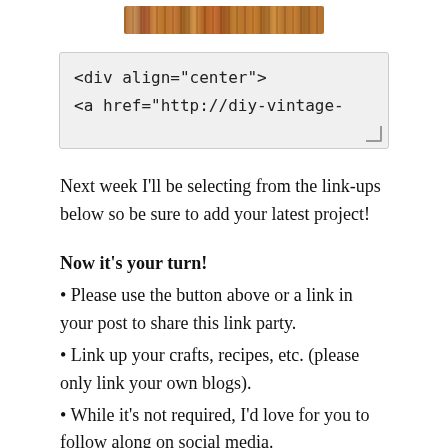[Figure (photo): A horizontal strip image showing wine corks or wooden spools arranged side by side, viewed from above, in warm brown tones.]
<div align="center">
<a href="http://diy-vintage-
Next week I'll be selecting from the link-ups below so be sure to add your latest project!
Now it's your turn!
• Please use the button above or a link in your post to share this link party.
• Link up your crafts, recipes, etc. (please only link your own blogs).
• While it's not required, I'd love for you to follow along on social media.